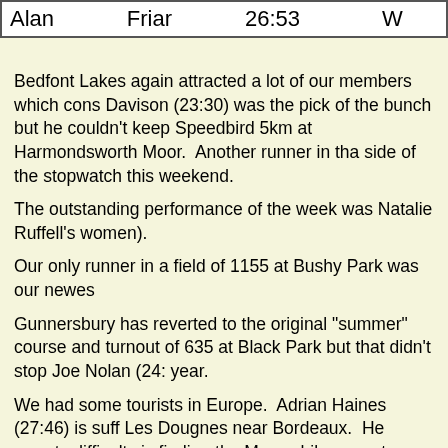| Alan | Friar | 26:53 | W |
| --- | --- | --- | --- |
Bedfont Lakes again attracted a lot of our members which cons Davison (23:30) was the pick of the bunch but he couldn't keep Speedbird 5km at Harmondsworth Moor.  Another runner in tha side of the stopwatch this weekend.
The outstanding performance of the week was Natalie Ruffell's women).
Our only runner in a field of 1155 at Bushy Park was our newes
Gunnersbury has reverted to the original "summer" course and turnout of 635 at Black Park but that didn't stop Joe Nolan (24: year.
We had some tourists in Europe.  Adrian Haines (27:46) is suff Les Dougnes near Bordeaux.  He reports difficulty is finding the Meanwhile over at Toulouse La Ramee Roderick Hoffman (27: every parkrun which has started up in France so far but anothe shorter name when we need to!  Very close to the Burgundy vi
Ian Cunningham (29:20) made it to Krakow and set a new club also been there (in summer 2015).  The chance of Ian's 250th 500th is still very much on the cards - they both have just seve
Someone [unknown] (24:00) at Alice Holt and Sto P...